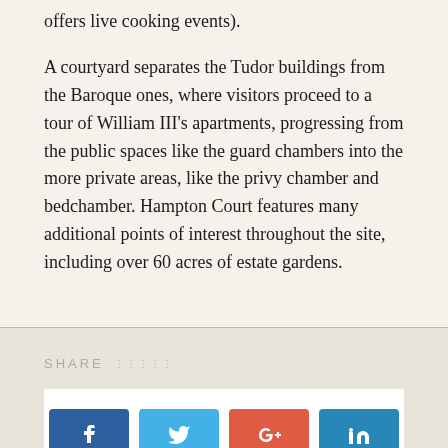offers live cooking events).
A courtyard separates the Tudor buildings from the Baroque ones, where visitors proceed to a tour of William III’s apartments, progressing from the public spaces like the guard chambers into the more private areas, like the privy chamber and bedchamber. Hampton Court features many additional points of interest throughout the site, including over 60 acres of estate gardens.
SHARE